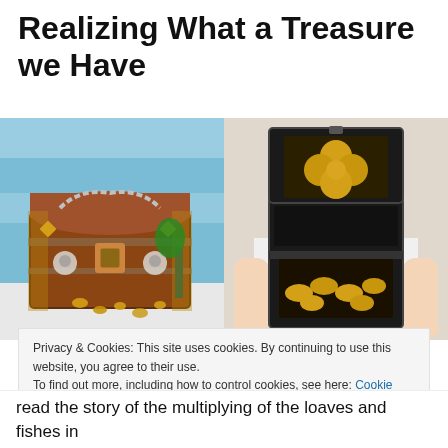Realizing What a Treasure we Have
[Figure (photo): Two photos side by side: left shows a decorative brown wooden treasure chest with metal clasps and chain, gold coins scattered in front, against a blue painted background. Right shows a person holding an open black treasure chest revealing a large golden four-leaf clover on top and gold coins in the bottom compartment.]
Privacy & Cookies: This site uses cookies. By continuing to use this website, you agree to their use.
To find out more, including how to control cookies, see here: Cookie Policy
Close and accept
read the story of the multiplying of the loaves and fishes in